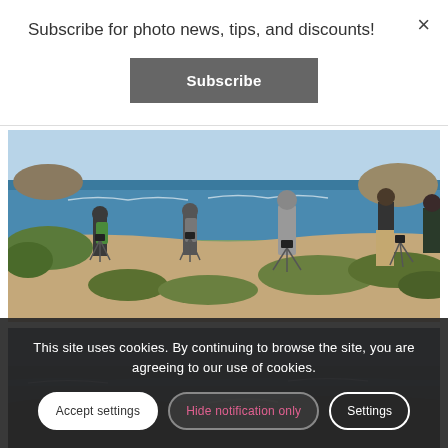Subscribe for photo news, tips, and discounts!
Subscribe
[Figure (photo): Group of photographers with tripods standing on a coastal cliff overlooking the ocean, green shrubs and rocky terrain visible]
[Figure (photo): Dark coastal seascape scene partially visible, rocky ocean view]
This site uses cookies. By continuing to browse the site, you are agreeing to our use of cookies.
Accept settings
Hide notification only
Settings